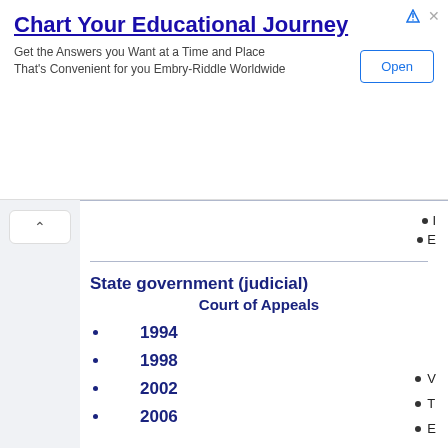[Figure (other): Advertisement banner: 'Chart Your Educational Journey' - Embry-Riddle Worldwide ad with Open button]
I
E
State government (judicial)
Court of Appeals
1994
1998
2002
2006
V
T
E